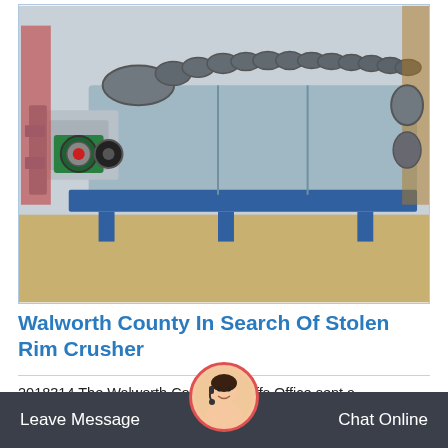[Figure (photo): Industrial Multitek Rim Crusher / screw conveyor machine on a blue metal frame, with a green motor visible on the left side, photographed outdoors.]
Walworth County In Search Of Stolen Rim Crusher
2018314 The Walworth County Sheriffs Office sent a statewide alert Tuesday in search of a Multitek Rim Crusher that was stolen from a salvage yard. Powered by a Kub motor, the machine is.
Leave Message   Chat Online